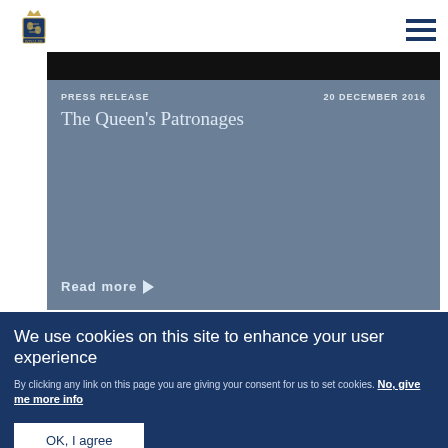Royal.uk website header with logo and navigation menu
[Figure (screenshot): Dark photograph at top of press release card]
PRESS RELEASE   20 DECEMBER 2016
The Queen's Patronages
Read more ▶
We use cookies on this site to enhance your user experience
By clicking any link on this page you are giving your consent for us to set cookies. No, give me more info
OK, I agree